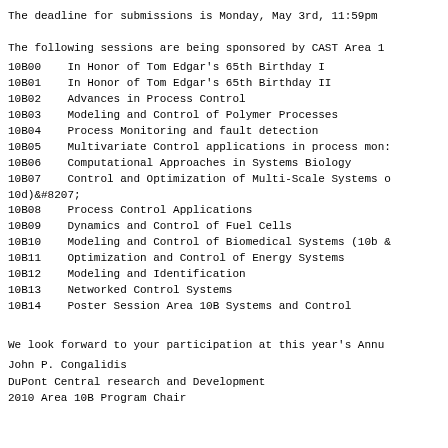The deadline for submissions is Monday, May 3rd, 11:59pm
The following sessions are being sponsored by CAST Area 1
10B00    In Honor of Tom Edgar's 65th Birthday I
10B01    In Honor of Tom Edgar's 65th Birthday II
10B02    Advances in Process Control
10B03    Modeling and Control of Polymer Processes
10B04    Process Monitoring and fault detection
10B05    Multivariate Control applications in process mon:
10B06    Computational Approaches in Systems Biology
10B07    Control and Optimization of Multi-Scale Systems o
10d)&amp;#8207;
10B08    Process Control Applications
10B09    Dynamics and Control of Fuel Cells
10B10    Modeling and Control of Biomedical Systems (10b &
10B11    Optimization and Control of Energy Systems
10B12    Modeling and Identification
10B13    Networked Control Systems
10B14    Poster Session Area 10B Systems and Control
We look forward to your participation at this year's Annu
John P. Congalidis
DuPont Central research and Development
2010 Area 10B Program Chair